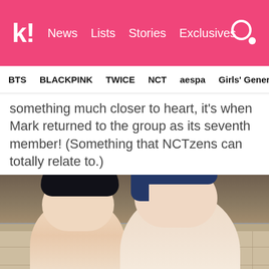k! News Lists Stories Exclusives
BTS BLACKPINK TWICE NCT aespa Girls' Generation
something much closer to heart, it's when Mark returned to the group as its seventh member! (Something that NCTzens can totally relate to.)
[Figure (photo): Two young men posing together indoors against a stone/brick wall. The person on the left has black hair, the person on the right has blue hair and is posing with hand near chin.]